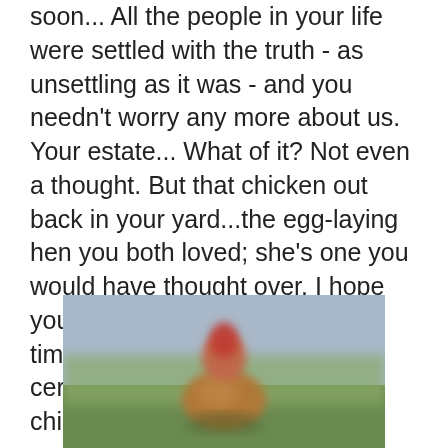soon... All the people in your life were settled with the truth - as unsettling as it was - and you needn't worry any more about us. Your estate... What of it? Not even a thought. But that chicken out back in your yard...the egg-laying hen you both loved; she's one you would have thought over. I hope you found her a new home in time... If not, then you would certainly have been thinking chicken on your way to die.
[Figure (photo): A blurred photograph of a chicken (hen) outdoors, with a reddish comb visible, brownish body, against a blurred green and grey background.]